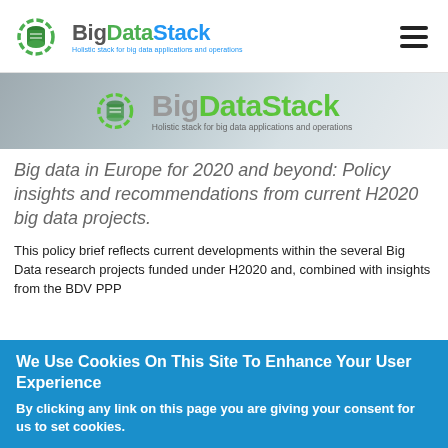BigDataStack — Holistic stack for big data applications and operations
[Figure (logo): BigDataStack banner logo with tagline 'Holistic stack for big data applications and operations' on a grey gradient background]
Big data in Europe for 2020 and beyond: Policy insights and recommendations from current H2020 big data projects.
This policy brief reflects current developments within the several Big Data research projects funded under H2020 and, combined with insights from the BDV PPP
We Use Cookies On This Site To Enhance Your User Experience
By clicking any link on this page you are giving your consent for us to set cookies.